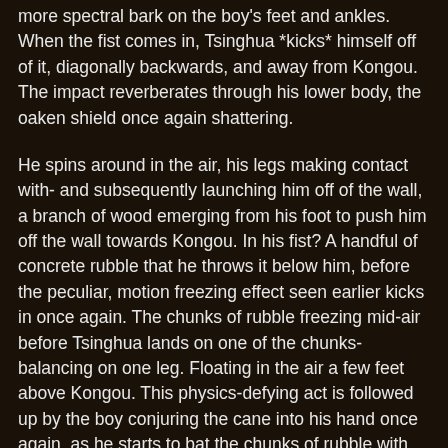more spectral bark on the boy's feet and ankles. When the fist comes in, Tsinghua *kicks* himself off of it, diagonally backwards, and away from Kongou. The impact reverberates through his lower body, the oaken shield once again shattering.
He spins around in the air, his legs making contact with- and subsequently launching him off of the wall, a branch of wood emerging from his foot to push him off the wall towards Kongou. In his fist? A handful of concrete rubble that he throws it below him, before the peculiar, motion freezing effect seen earlier kicks in once again. The chunks of rubble freezing mid-air before Tsinghua lands on one of the chunks- balancing on one leg. Floating in the air a few feet above Kongou. This physics-defying act is followed up by the boy conjuring the cane into his hand once again, as he starts to bat the chunks of rubble with precise, downward strikes. Building up kinetic force onto the pebbles. Finally, he flips backwards off of the floating chunk, while releasing the kinetic spell- leaving a shotgun of ki-infused concrete rubble to launch downwards towards Kongou!